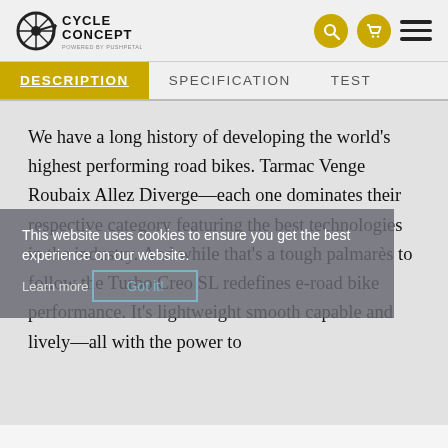Cycle Concept — navigation header with search, cart, and menu icons
DESCRIPTION | SPECIFICATION | TEST
We have a long history of developing the world's highest performing road bikes. Tarmac Venge Roubaix Allez Diverge—each one dominates their respective category featuring the best technologies in the industry. And while that's a tough palmarès to follow the Turbo Creo SL redefines e-road bike performance. It's lightweight smooth capable and lively—all with the power to
This website uses cookies to ensure you get the best experience on our website. Learn more — Got it!